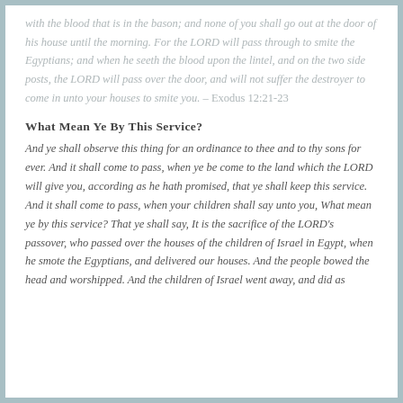with the blood that is in the bason; and none of you shall go out at the door of his house until the morning. For the LORD will pass through to smite the Egyptians; and when he seeth the blood upon the lintel, and on the two side posts, the LORD will pass over the door, and will not suffer the destroyer to come in unto your houses to smite you. – Exodus 12:21-23
What Mean Ye By This Service?
And ye shall observe this thing for an ordinance to thee and to thy sons for ever. And it shall come to pass, when ye be come to the land which the LORD will give you, according as he hath promised, that ye shall keep this service. And it shall come to pass, when your children shall say unto you, What mean ye by this service? That ye shall say, It is the sacrifice of the LORD's passover, who passed over the houses of the children of Israel in Egypt, when he smote the Egyptians, and delivered our houses. And the people bowed the head and worshipped. And the children of Israel went away, and did as